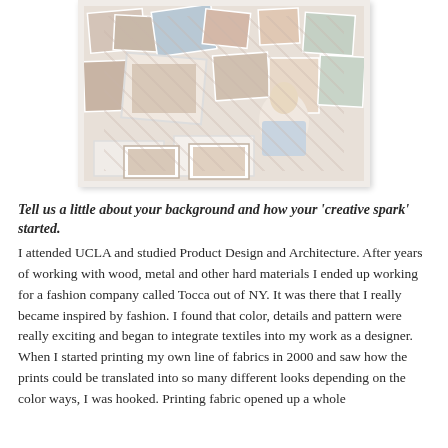[Figure (photo): A woman sitting on the floor surrounded by a large collage of photos, fabrics, and design materials pinned to a wall behind her. She is wearing a white top and jeans, smiling, in what appears to be a creative studio or workspace.]
Tell us a little about your background and how your 'creative spark' started. I attended UCLA and studied Product Design and Architecture. After years of working with wood, metal and other hard materials I ended up working for a fashion company called Tocca out of NY. It was there that I really became inspired by fashion. I found that color, details and pattern were really exciting and began to integrate textiles into my work as a designer. When I started printing my own line of fabrics in 2000 and saw how the prints could be translated into so many different looks depending on the color ways, I was hooked. Printing fabric opened up a whole